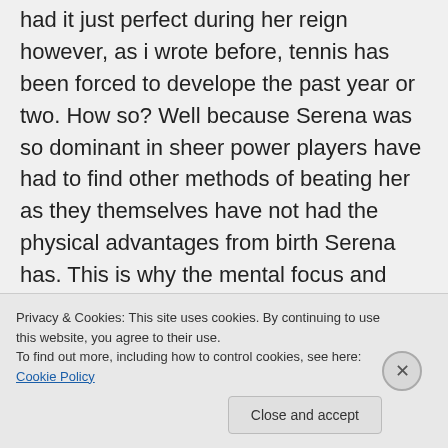had it just perfect during her reign however, as i wrote before, tennis has been forced to develope the past year or two. How so? Well because Serena was so dominant in sheer power players have had to find other methods of beating her as they themselves have not had the physical advantages from birth Serena has. This is why the mental focus and physical condition has improved in many other players this past year. To be able to run down balls left and right no
Privacy & Cookies: This site uses cookies. By continuing to use this website, you agree to their use.
To find out more, including how to control cookies, see here: Cookie Policy